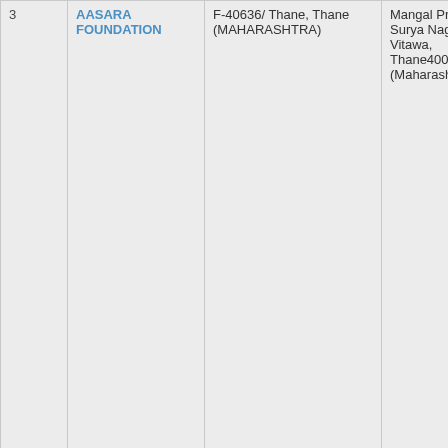| # | Name | Address | Contact |
| --- | --- | --- | --- |
| 3 | AASARA FOUNDATION | F-40636/ Thane, Thane (MAHARASHTRA) | Mangal Pra... Surya Naga... Vitawa, Thane4006... (Maharasht... |